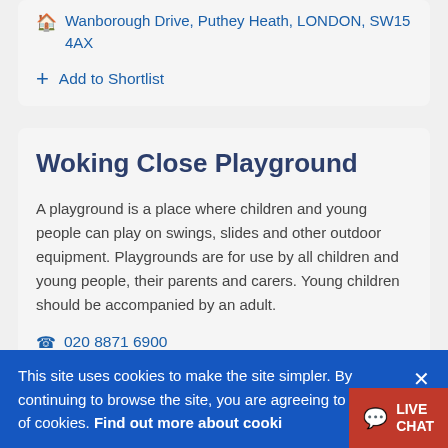Wanborough Drive, Puthey Heath, LONDON, SW15 4AX
+ Add to Shortlist
Woking Close Playground
A playground is a place where children and young people can play on swings, slides and other outdoor equipment. Playgrounds are for use by all children and young people, their parents and carers. Young children should be accompanied by an adult.
020 8871 6900
This site uses cookies to make the site simpler. By continuing to browse the site, you are agreeing to our use of cookies. Find out more about cookies